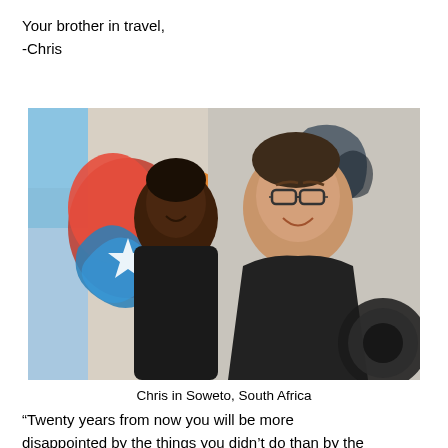Your brother in travel,
-Chris
[Figure (photo): Chris and a young boy smiling together in front of a graffiti wall in Soweto, South Africa. The boy is on the left wearing a black jacket, and Chris is on the right wearing glasses and a black jacket, holding a camera.]
Chris in Soweto, South Africa
“Twenty years from now you will be more disappointed by the things you didn’t do than by the